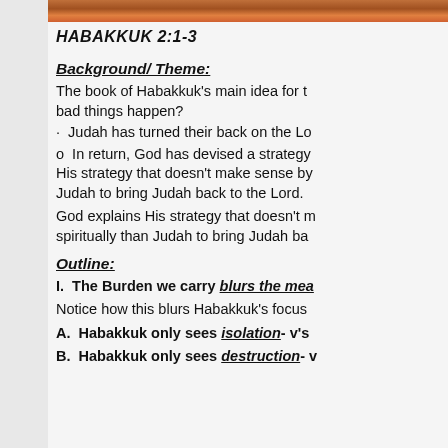[Figure (photo): Sunset or landscape photo strip at top of page]
HABAKKUK 2:1-3
Background/ Theme:
The book of Habakkuk's main idea for t bad things happen?
· Judah has turned their back on the Lo
o In return, God has devised a strategy His strategy that doesn't make sense by Judah to bring Judah back to the Lord.
God explains His strategy that doesn't m spiritually than Judah to bring Judah ba
Outline:
I. The Burden we carry blurs the mea
Notice how this blurs Habakkuk's focus
A. Habakkuk only sees isolation- v's
B. Habakkuk only sees destruction- v